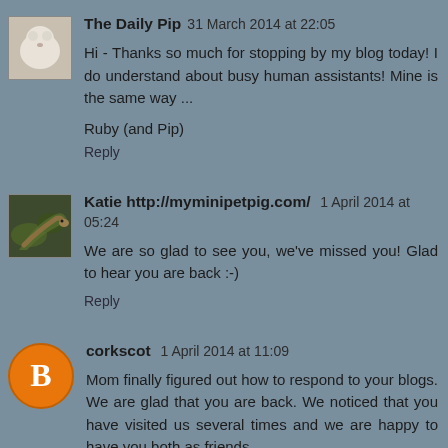[Figure (photo): Avatar photo of a white fluffy dog]
The Daily Pip  31 March 2014 at 22:05
Hi - Thanks so much for stopping by my blog today! I do understand about busy human assistants! Mine is the same way ...

Ruby (and Pip)
Reply
[Figure (photo): Avatar photo of a snake or lizard on leaves]
Katie http://myminipetpig.com/  1 April 2014 at 05:24
We are so glad to see you, we've missed you! Glad to hear you are back :-)
Reply
[Figure (logo): Blogger B logo orange circle]
corkscot  1 April 2014 at 11:09
Mom finally figured out how to respond to your blogs. We are glad that you are back. We noticed that you have visited us several times and we are happy to have you both as friends.